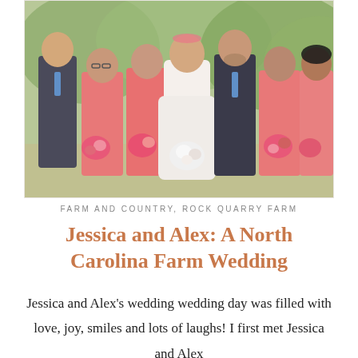[Figure (photo): Wedding party photo showing bride in white dress centered, groom in dark suit with blue tie beside her, surrounded by four bridesmaids in coral/pink dresses holding colorful bouquets and one groomsman in dark suit on far left, outdoors with trees in background]
FARM AND COUNTRY, ROCK QUARRY FARM
Jessica and Alex: A North Carolina Farm Wedding
Jessica and Alex's wedding wedding day was filled with love, joy, smiles and lots of laughs! I first met Jessica and Alex